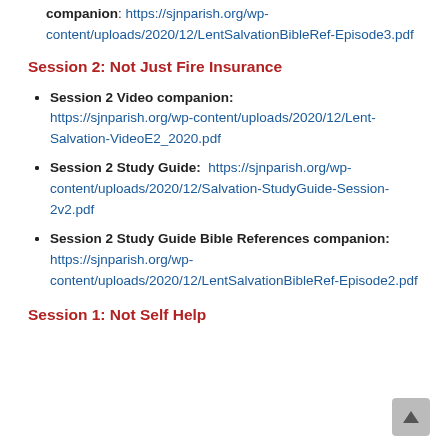Session 3 Study Guide Bible References companion: https://sjnparish.org/wp-content/uploads/2020/12/LentSalvationBibleRef-Episode3.pdf
Session 2: Not Just Fire Insurance
Session 2 Video companion: https://sjnparish.org/wp-content/uploads/2020/12/Lent-Salvation-VideoE2_2020.pdf
Session 2 Study Guide:  https://sjnparish.org/wp-content/uploads/2020/12/Salvation-StudyGuide-Session-2v2.pdf
Session 2 Study Guide Bible References companion: https://sjnparish.org/wp-content/uploads/2020/12/LentSalvationBibleRef-Episode2.pdf
Session 1: Not Self Help